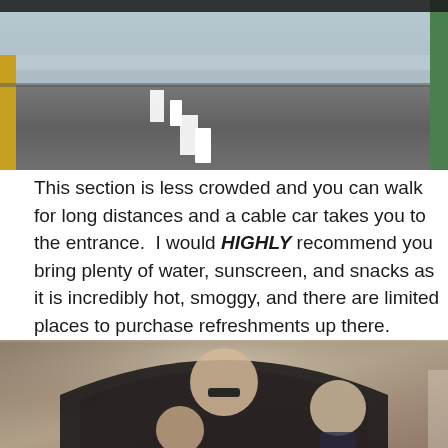[Figure (photo): View looking down from a cable car or elevated platform onto a road with white dashed lane markings; green structure visible on the right edge.]
This section is less crowded and you can walk for long distances and a cable car takes you to the entrance.  I would HIGHLY recommend you bring plenty of water, sunscreen, and snacks as it is incredibly hot, smoggy, and there are limited places to purchase refreshments up there.
[Figure (photo): Three people posing inside a stone archway on the Great Wall of China. A tall shirtless man wearing sunglasses stands in the center, a child in a cap stands in front, and a young person in a dark tank top stands to the right.]